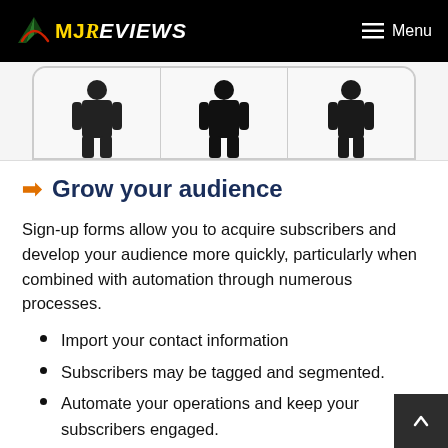MJ Reviews | Menu
[Figure (illustration): Three panels showing silhouette figures, partially visible at top of page content area]
➡ Grow your audience
Sign-up forms allow you to acquire subscribers and develop your audience more quickly, particularly when combined with automation through numerous processes.
Import your contact information
Subscribers may be tagged and segmented.
Automate your operations and keep your subscribers engaged.